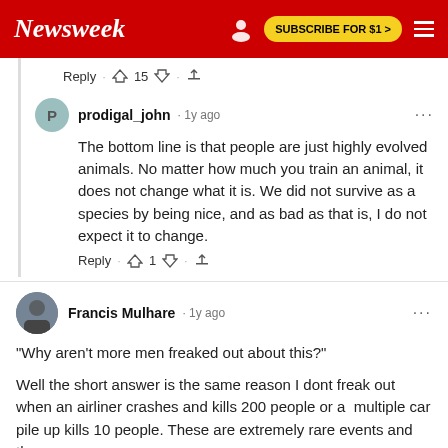Newsweek | SUBSCRIBE FOR $1 >
Reply · 👍 15 👎 · ⬆
prodigal_john · 1y ago
The bottom line is that people are just highly evolved animals. No matter how much you train an animal, it does not change what it is. We did not survive as a species by being nice, and as bad as that is, I do not expect it to change.
Reply · 👍 1 👎 · ⬆
Francis Mulhare · 1y ago
"Why aren't more men freaked out about this?"

Well the short answer is the same reason I dont freak out when an airliner crashes and kills 200 people or a  multiple car pile up kills 10 people. These are extremely rare events and the